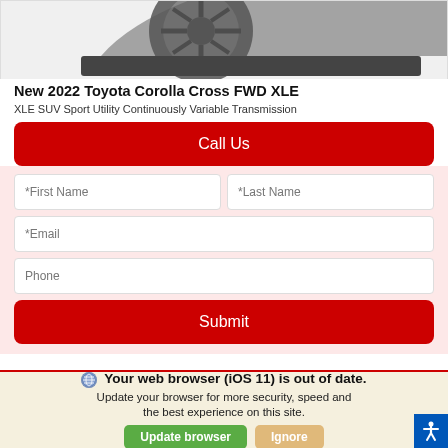[Figure (photo): Partial view of a Toyota Corolla Cross vehicle, showing the rear wheel and lower body from above]
New 2022 Toyota Corolla Cross FWD XLE
XLE SUV Sport Utility Continuously Variable Transmission
Call Us
*First Name
*Last Name
*Email
Phone
Submit
Your web browser (iOS 11) is out of date.
Update your browser for more security, speed and the best experience on this site.
Update browser
Ignore